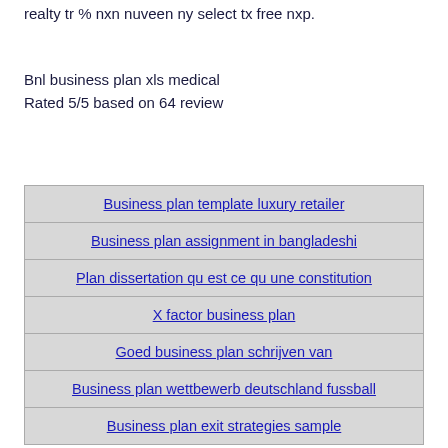realty tr % nxn nuveen ny select tx free nxp.
Bnl business plan xls medical
Rated 5/5 based on 64 review
| Business plan template luxury retailer |
| Business plan assignment in bangladeshi |
| Plan dissertation qu est ce qu une constitution |
| X factor business plan |
| Goed business plan schrijven van |
| Business plan wettbewerb deutschland fussball |
| Business plan exit strategies sample |